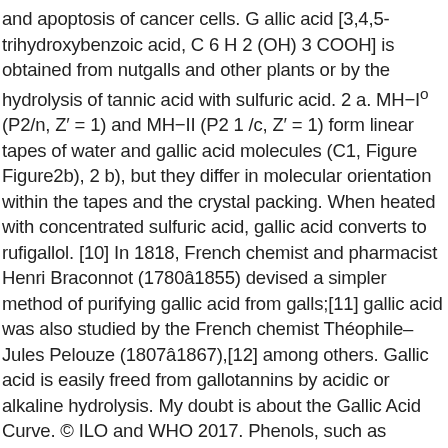and apoptosis of cancer cells. G allic acid [3,4,5-trihydroxybenzoic acid, C 6 H 2 (OH) 3 COOH] is obtained from nutgalls and other plants or by the hydrolysis of tannic acid with sulfuric acid. 2 a. MH−Iº (P2/n, Z′ = 1) and MH−II (P2 1 /c, Z′ = 1) form linear tapes of water and gallic acid molecules (C1, Figure Figure2b), 2 b), but they differ in molecular orientation within the tapes and the crystal packing. When heated with concentrated sulfuric acid, gallic acid converts to rufigallol. [10] In 1818, French chemist and pharmacist Henri Braconnot (1780ââ 1855) devised a simpler method of purifying gallic acid from galls;[11] gallic acid was also studied by the French chemist ThéOphile–Jules Pelouze (1807ââ 1867),[12] among others. Gallic acid is easily freed from gallotannins by acidic or alkaline hydrolysis. My doubt is about the Gallic Acid Curve. © ILO and WHO 2017. Phenols, such as GALLIC ACID, do not behave as organic alcohols,